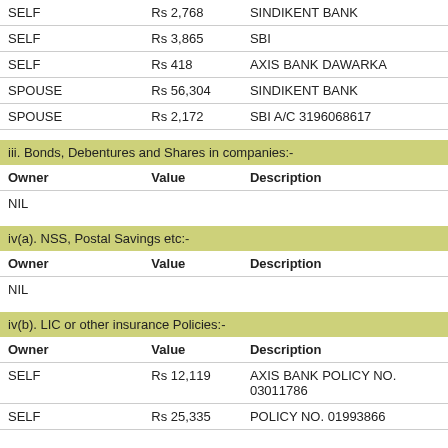| Owner | Value | Description |
| --- | --- | --- |
| SELF | Rs 2,768 | SINDIKENT BANK |
| SELF | Rs 3,865 | SBI |
| SELF | Rs 418 | AXIS BANK DAWARKA |
| SPOUSE | Rs 56,304 | SINDIKENT BANK |
| SPOUSE | Rs 2,172 | SBI A/C 3196068617 |
iii. Bonds, Debentures and Shares in companies:-
| Owner | Value | Description |
| --- | --- | --- |
| NIL |  |  |
iv(a). NSS, Postal Savings etc:-
| Owner | Value | Description |
| --- | --- | --- |
| NIL |  |  |
iv(b). LIC or other insurance Policies:-
| Owner | Value | Description |
| --- | --- | --- |
| SELF | Rs 12,119 | AXIS BANK POLICY NO. 03011786 |
| SELF | Rs 25,335 | POLICY NO. 01993866 |